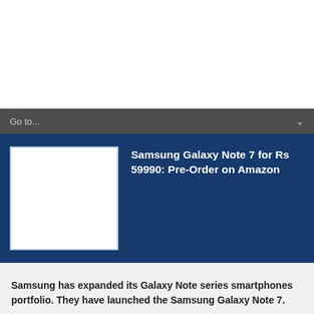Go to...
Samsung Galaxy Note 7 for Rs 59990: Pre-Order on Amazon
Samsung has expanded its Galaxy Note series smartphones portfolio. They have launched the Samsung Galaxy Note 7.